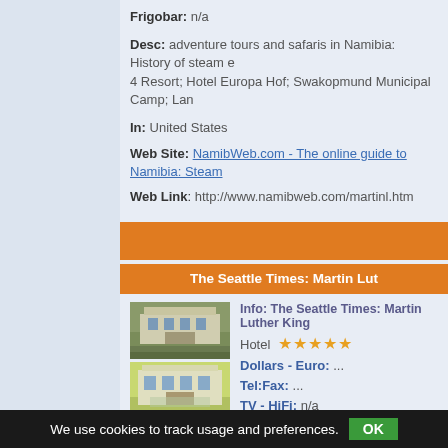Frigobar: n/a
Desc: adventure tours and safaris in Namibia: History of steam e 4 Resort; Hotel Europa Hof; Swakopmund Municipal Camp; Lan
In: United States
Web Site: NamibWeb.com - The online guide to Namibia: Steam
Web Link: http://www.namibweb.com/martinl.htm
The Seattle Times: Martin Lut
Info: The Seattle Times: Martin Luther King
Hotel ★★★★★
Dollars - Euro: ...
Tel:Fax: ...
TV - HiFi: n/a
Clima: n/a
Frigobar: n/a
Desc: The life of Martin Luther King Jr. Any number of historic sp nonviolent "camp 1968, on the balcony of the black-owned Lorra
We use cookies to track usage and preferences. OK